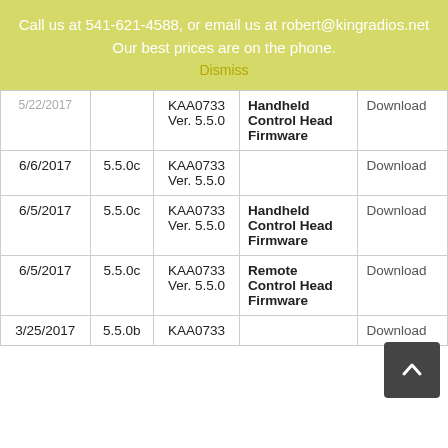Call us at 541-621-4588, or email us at robert@kingradios.net Our best prices are on the phone. Dismiss
| Date | Version | File | Description | Link |
| --- | --- | --- | --- | --- |
| 5/22/2017 | (partial) | KAA0733
Ver. 5.5.0 | Handheld Control Head Firmware | Download |
| 6/6/2017 | 5.5.0c | KAA0733
Ver. 5.5.0 |  | Download |
| 6/5/2017 | 5.5.0c | KAA0733
Ver. 5.5.0 | Handheld Control Head Firmware | Download |
| 6/5/2017 | 5.5.0c | KAA0733
Ver. 5.5.0 | Remote Control Head Firmware | Download |
| 3/25/2017 | 5.5.0b | KAA0733 |  | Download |